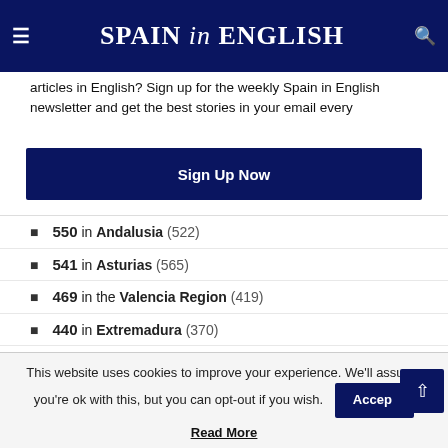SPAIN in ENGLISH
articles in English? Sign up for the weekly Spain in English newsletter and get the best stories in your email every
Sign Up Now
550 in Andalusia (522)
541 in Asturias (565)
469 in the Valencia Region (419)
440 in Extremadura (370)
343 in Cantabria (224)
327 in Murcia (186)
44 in Castilla La Mancha (22)
This website uses cookies to improve your experience. We'll assume you're ok with this, but you can opt-out if you wish.
Read More